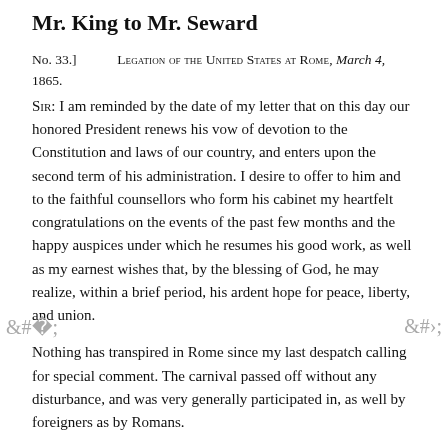Mr. King to Mr. Seward
No. 33.] Legation of the United States at Rome, March 4, 1865. Sir: I am reminded by the date of my letter that on this day our honored President renews his vow of devotion to the Constitution and laws of our country, and enters upon the second term of his administration. I desire to offer to him and to the faithful counsellors who form his cabinet my heartfelt congratulations on the events of the past few months and the happy auspices under which he resumes his good work, as well as my earnest wishes that, by the blessing of God, he may realize, within a brief period, his ardent hope for peace, liberty, and union.
Nothing has transpired in Rome since my last despatch calling for special comment. The carnival passed off without any disturbance, and was very generally participated in, as well by foreigners as by Romans.
I had an official interview with Cardinal Antonelli a few days since, and a very frank talk about affairs in America. His eminence seemed to appreciate fully the events of the late